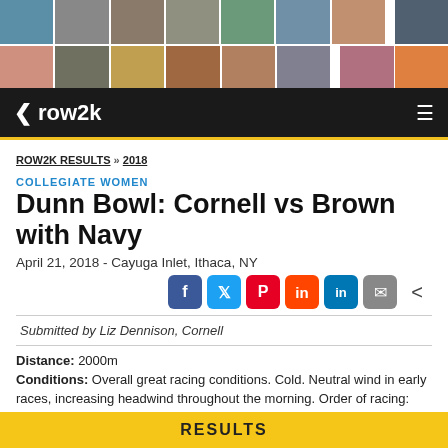[Figure (photo): Two rows of small thumbnail photos forming a decorative header strip]
row2k
ROW2K RESULTS » 2018
COLLEGIATE WOMEN
Dunn Bowl: Cornell vs Brown with Navy
April 21, 2018 - Cayuga Inlet, Ithaca, NY
[Figure (infographic): Social sharing icons: Facebook, Twitter, Pinterest, Reddit, LinkedIn, Email, Share]
Submitted by Liz Dennison, Cornell
Distance: 2000m
Conditions: Overall great racing conditions. Cold. Neutral wind in early races, increasing headwind throughout the morning. Order of racing: B4, 1V, 2V, A4, 3V, C4.
Comments: Brown retains the Dunn Bowl for winning all 3 NCAA events.
RESULTS